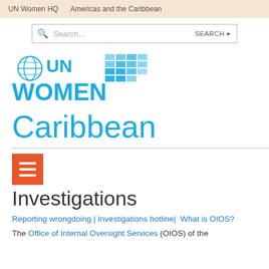UN Women HQ    Americas and the Caribbean
[Figure (logo): UN Women logo with UN emblem globe and blue grid/window graphic]
Caribbean
[Figure (other): Orange hamburger menu icon with three white horizontal lines]
Investigations
Reporting wrongdoing | Investigations hotline|  What is OIOS?
The Office of Internal Oversight Services (OIOS) of the